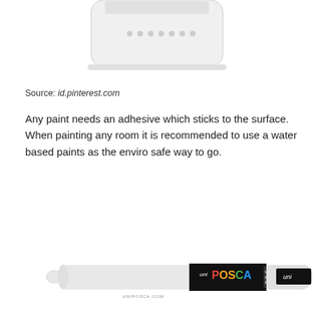[Figure (photo): Partial view of a white paint container/bottle cropped at top of page]
Source: id.pinterest.com
Any paint needs an adhesive which sticks to the surface. When painting any room it is recommended to use a water based paints as the enviro safe way to go.
[Figure (photo): A uni POSCA white paint marker pen with black barrel label showing 'uni POSCA' branding and 'WHITE/BLANCO/BLANC/BIANCO' text, with 'uni' on the cap end]